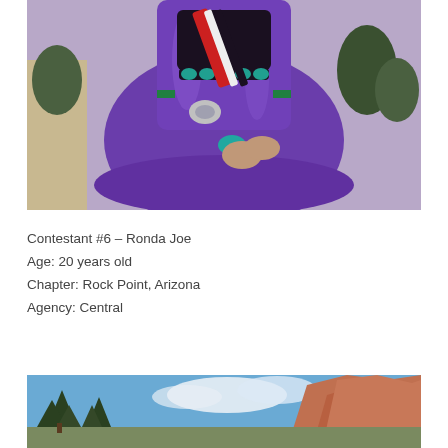[Figure (photo): Woman wearing a purple satin traditional Navajo dress with turquoise jewelry, concho belt, and a striped sash, seated outdoors with desert landscape behind her.]
Contestant #6 – Ronda Joe
Age: 20 years old
Chapter: Rock Point, Arizona
Agency: Central
[Figure (photo): Desert landscape with red rock formations and blue sky with clouds, and pine trees in the foreground.]